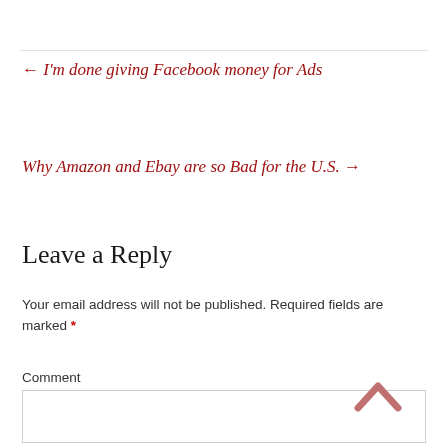← I'm done giving Facebook money for Ads
Why Amazon and Ebay are so Bad for the U.S. →
Leave a Reply
Your email address will not be published. Required fields are marked *
Comment